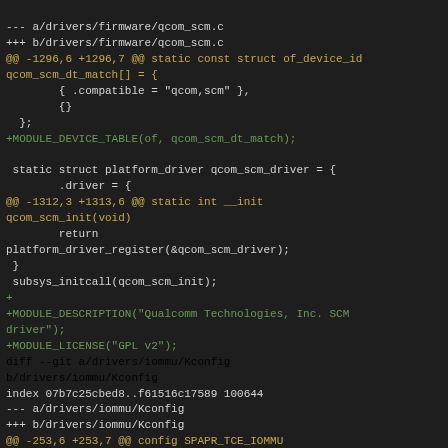--- a/drivers/firmware/qcom_scm.c
+++ b/drivers/firmware/qcom_scm.c
@@ -1296,6 +1296,7 @@ static const struct of_device_id qcom_scm_dt_match[] = {
        { .compatible = "qcom,scm" },
        {}
  };
+MODULE_DEVICE_TABLE(of, qcom_scm_dt_match);

 static struct platform_driver qcom_scm_driver = {
        .driver = {
@@ -1312,3 +1313,6 @@ static int __init qcom_scm_init(void)
        return
platform_driver_register(&qcom_scm_driver);
 }
 subsys_initcall(qcom_scm_init);
+
+MODULE_DESCRIPTION("Qualcomm Technologies, Inc. SCM driver");
+MODULE_LICENSE("GPL v2");
diff --git a/drivers/iommu/Kconfig b/drivers/iommu/Kconfig
index 07b7c25cbed8..f61516c17589 100644
--- a/drivers/iommu/Kconfig
+++ b/drivers/iommu/Kconfig
@@ -253,6 +253,7 @@ config SPAPR_TCE_IOMMU
 config ARM_SMMU
        tristate "ARM Ltd. System MMU (SMMU) Support"
        depends on ARM64 || ARM || (COMPILE_TEST &&